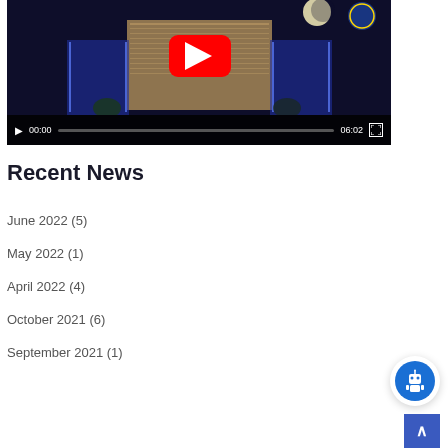[Figure (screenshot): Video player showing a building at night with YouTube play button overlay. Controls show 00:00 current time and 06:02 total duration.]
Recent News
June 2022 (5)
May 2022 (1)
April 2022 (4)
October 2021 (6)
September 2021 (1)